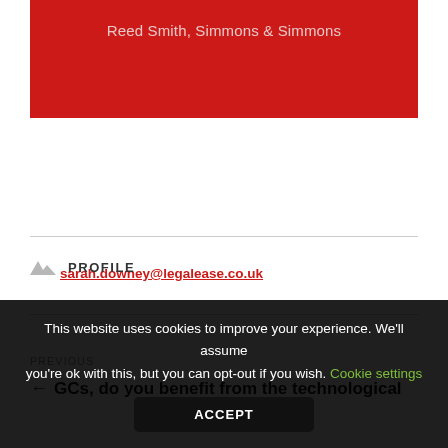[Figure (other): Red banner with text 'Reed Smith, Simmons & Simmons']
sarah.downey@legalease.co.uk
PROFILE
PREVIOUS
← GCs, do you benefit from the technological
This website uses cookies to improve your experience. We'll assume you're ok with this, but you can opt-out if you wish. Cookie settings ACCEPT